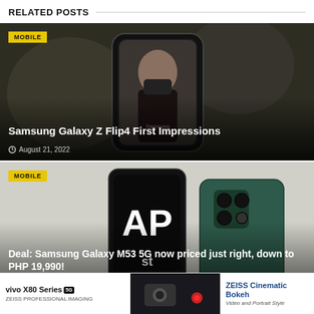RELATED POSTS
[Figure (photo): Samsung Galaxy Z Flip4 shown held by person wearing black mask, used as card thumbnail]
MOBILE
Samsung Galaxy Z Flip4 First Impressions
August 21, 2022
[Figure (photo): Samsung Galaxy M53 5G product image shown on gray background, card thumbnail]
MOBILE
Deal: Samsung Galaxy M53 5G now priced just right, down to PHP 19,990!
[Figure (photo): Advertisement banner for vivo X80 Series 5G with ZEISS Professional Imaging and ZEISS Cinematic Bokeh]
vivo X80 Series 5G ZEISS PROFESSIONAL IMAGING
ZEISS Cinematic Bokeh Video and Portrait Style